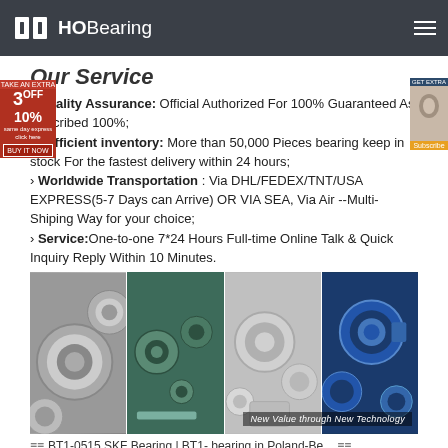HOBearing
Our Service
Quality Assurance: Official Authorized For 100% Guaranteed As Described 100%;
Sufficient inventory: More than 50,000 Pieces bearing keep in stock For the fastest delivery within 24 hours;
Worldwide Transportation : Via DHL/FEDEX/TNT/USA EXPRESS(5-7 Days can Arrive) OR VIA SEA, Via Air --Multi-Shiping Way for your choice;
Service:One-to-one 7*24 Hours Full-time Online Talk & Quick Inquiry Reply Within 10 Minutes.
[Figure (photo): Four-panel photo collage of various bearings: deep groove ball bearings, small bearings on teal background, mixed bearings, and blue-tinted rod end bearings. Overlay text: New Value through New Technology]
≡≡ BT1-0515 SKF Bearing | BT1- bearing in Poland-Be... ≡≡